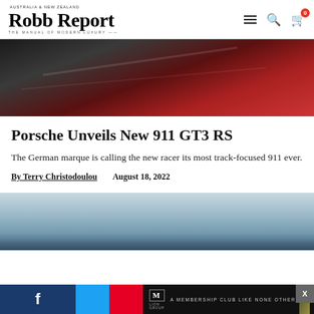Robb Report — AUSTRALIA & NEW ZEALAND — THE MANUAL OF MODERN LUXURY
[Figure (photo): Close-up photo of red Porsche car detail, dark metallic and red bodywork]
Porsche Unveils New 911 GT3 RS
The German marque is calling the new racer its most track-focused 911 ever.
By Terry Christodoulou    August 18, 2022
[Figure (photo): Photo of Porsche 911 GT3 RS against cloudy sky background]
[Figure (screenshot): Social media share bar with Facebook, Twitter, Pinterest buttons and advertisement banner showing M club logo with interior image and X close button]